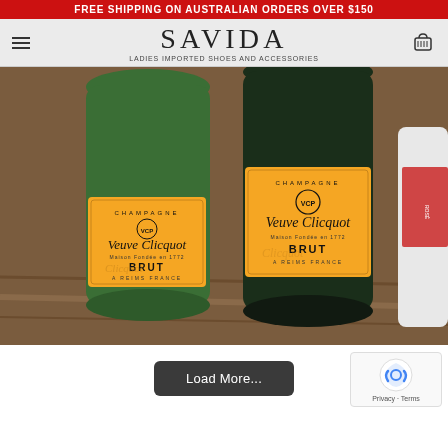FREE SHIPPING ON AUSTRALIAN ORDERS OVER $150
SAVIDA
LADIES IMPORTED SHOES AND ACCESSORIES
[Figure (photo): Two Veuve Clicquot Brut Champagne bottles with orange labels, placed on a wooden surface. The bottles feature the iconic VCP crest and text reading 'Champagne', 'Veuve Clicquot', 'Maison Fondée en 1772', 'BRUT', 'A Reims France'.]
Load More...